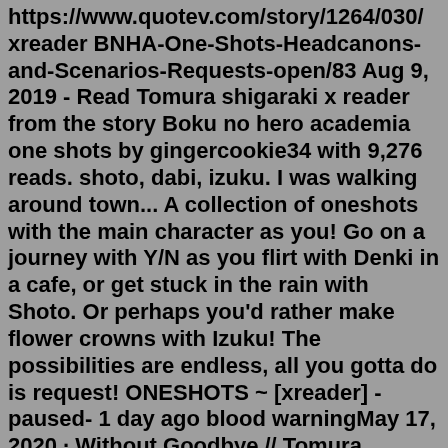https://www.quotev.com/story/1264/030/ xreader BNHA-One-Shots-Headcanons-and-Scenarios-Requests-open/83 Aug 9, 2019 - Read Tomura shigaraki x reader from the story Boku no hero academia one shots by gingercookie34 with 9,276 reads. shoto, dabi, izuku. I was walking around town... A collection of oneshots with the main character as you! Go on a journey with Y/N as you flirt with Denki in a cafe, or get stuck in the rain with Shoto. Or perhaps you'd rather make flower crowns with Izuku! The possibilities are endless, all you gotta do is request! ONESHOTS ~ [xreader] -paused- 1 day ago blood warningMay 17, 2020 · Without Goodbye // Tomura Shigaraki x Reader. Originally posted by todoroki-touya. You lay beside Tomura, your orbs enraptured by his own loving gaze. The softest ... See a recent post on Tumblr from @tenkoscumslut about shigaraki-x-reader-angst. Discover more posts about shigaraki-x-reader-angst. Memories of you and Shigaraki began to flood your mind. You tried to fight the tears back but they ended